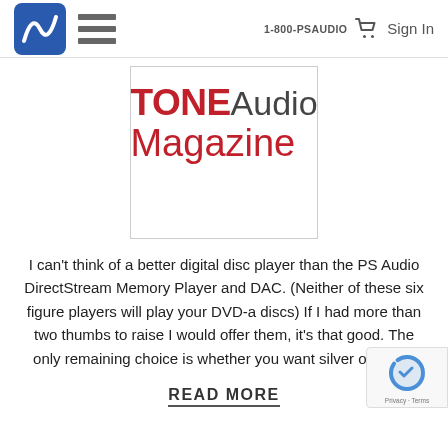1-800-PSAUDIO  Sign In
[Figure (logo): TONE Audio Magazine logo — 'TONE' in bold red, 'Audio' in light gray, 'Magazine' in red, inside a bordered box]
I can't think of a better digital disc player than the PS Audio DirectStream Memory Player and DAC. (Neither of these six figure players will play your DVD-a discs) If I had more than two thumbs to raise I would offer them, it's that good. The only remaining choice is whether you want silver or black.
READ MORE